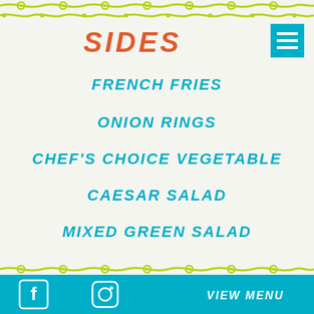[Figure (illustration): Decorative wavy line border in yellow-green at top of page]
SIDES
[Figure (illustration): Teal hamburger menu icon (three horizontal lines) in upper right corner]
FRENCH FRIES
ONION RINGS
CHEF'S CHOICE VEGETABLE
CAESAR SALAD
MIXED GREEN SALAD
[Figure (illustration): Decorative wavy line border in yellow-green separating SIDES and BEVERAGES sections]
BEVERAGES
VIEW MENU